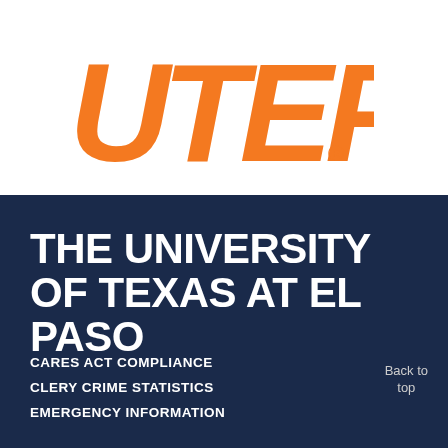[Figure (logo): UTEP university logo in orange italic bold letters on white background]
THE UNIVERSITY OF TEXAS AT EL PASO
CARES ACT COMPLIANCE
CLERY CRIME STATISTICS
EMERGENCY INFORMATION
Back to top